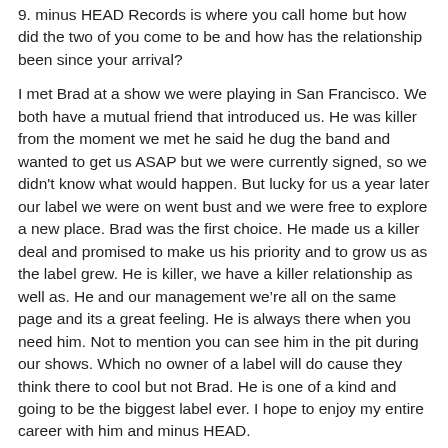9. minus HEAD Records is where you call home but how did the two of you come to be and how has the relationship been since your arrival?
I met Brad at a show we were playing in San Francisco. We both have a mutual friend that introduced us. He was killer from the moment we met he said he dug the band and wanted to get us ASAP but we were currently signed, so we didn't know what would happen. But lucky for us a year later our label we were on went bust and we were free to explore a new place. Brad was the first choice. He made us a killer deal and promised to make us his priority and to grow us as the label grew. He is killer, we have a killer relationship as well as. He and our management we're all on the same page and its a great feeling. He is always there when you need him. Not to mention you can see him in the pit during our shows. Which no owner of a label will do cause they think there to cool but not Brad. He is one of a kind and going to be the biggest label ever. I hope to enjoy my entire career with him and minus HEAD.
10. How about shows and touring, what do you guys have